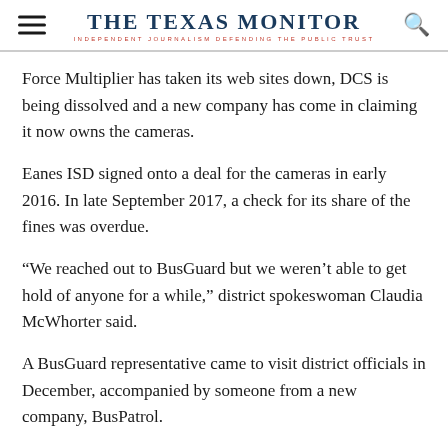THE TEXAS MONITOR — INDEPENDENT JOURNALISM DEFENDING THE PUBLIC TRUST
Force Multiplier has taken its web sites down, DCS is being dissolved and a new company has come in claiming it now owns the cameras.
Eanes ISD signed onto a deal for the cameras in early 2016. In late September 2017, a check for its share of the fines was overdue.
“We reached out to BusGuard but we weren’t able to get hold of anyone for a while,” district spokeswoman Claudia McWhorter said.
A BusGuard representative came to visit district officials in December, accompanied by someone from a new company, BusPatrol.